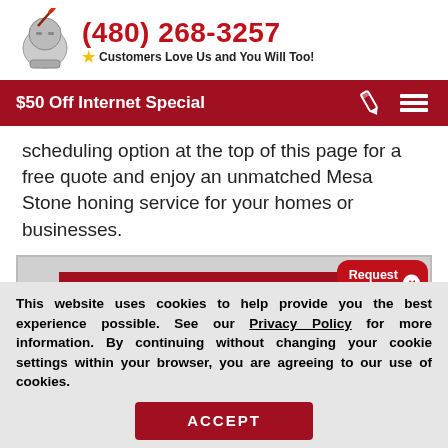[Figure (logo): Knight/armor figure with quill pen logo]
(480) 268-3257
Customers Love Us and You Will Too!
$50 Off Internet Special
scheduling option at the top of this page for a free quote and enjoy an unmatched Mesa Stone honing service for your homes or businesses.
[Figure (other): TAKE ADVANTAGE banner with Request a Free popup button]
This website uses cookies to help provide you the best experience possible. See our Privacy Policy for more information. By continuing without changing your cookie settings within your browser, you are agreeing to our use of cookies.
ACCEPT